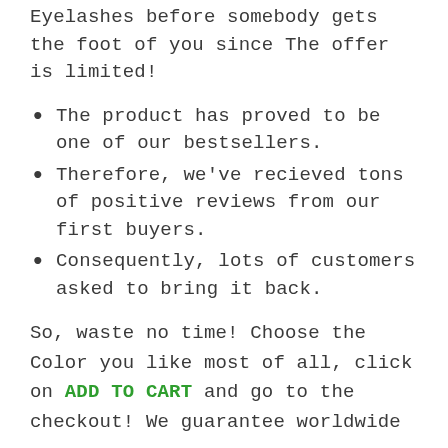Eyelashes before somebody gets the foot of you since The offer is limited!
The product has proved to be one of our bestsellers.
Therefore, we've recieved tons of positive reviews from our first buyers.
Consequently, lots of customers asked to bring it back.
So, waste no time! Choose the Color you like most of all, click on ADD TO CART and go to the checkout! We guarantee worldwide